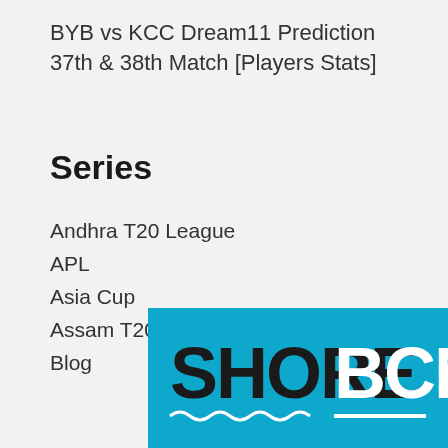BYB vs KCC Dream11 Prediction 37th & 38th Match [Players Stats]
Series
Andhra T20 League
APL
Asia Cup
Assam T20
Blog
[Figure (logo): SHOREBCN logo — cyan/blue background with black bold text SHORE and white bold text BCN, with wave decoration underline]